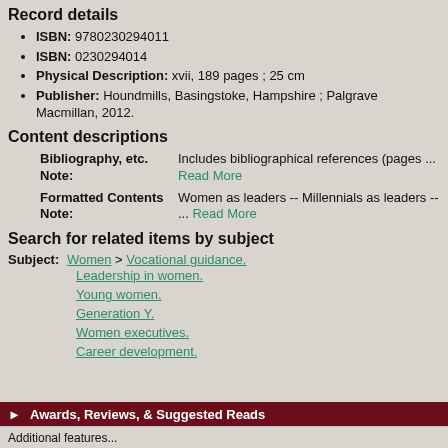Record details
ISBN: 9780230294011
ISBN: 0230294014
Physical Description: xvii, 189 pages ; 25 cm
Publisher: Houndmills, Basingstoke, Hampshire ; Palgrave Macmillan, 2012.
Content descriptions
| Field | Value |
| --- | --- |
| Bibliography, etc. Note: | Includes bibliographical references (pages ... Read More |
| Formatted Contents Note: | Women as leaders -- Millennials as leaders -- ... Read More |
Search for related items by subject
Subject: Women > Vocational guidance. Leadership in women. Young women. Generation Y. Women executives. Career development.
► Awards, Reviews, & Suggested Reads
Additional features...